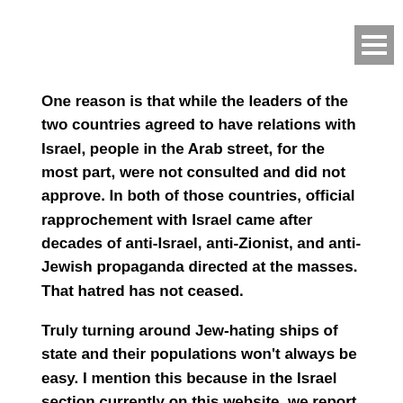[Figure (other): Hamburger menu icon (three horizontal white lines on grey background) in top right corner]
One reason is that while the leaders of the two countries agreed to have relations with Israel, people in the Arab street, for the most part, were not consulted and did not approve. In both of those countries, official rapprochement with Israel came after decades of anti-Israel, anti-Zionist, and anti-Jewish propaganda directed at the masses. That hatred has not ceased.
Truly turning around Jew-hating ships of state and their populations won't always be easy. I mention this because in the Israel section currently on this website, we report on Palestinian incitement directed even at children. Virulent Palestinian anti-Israel incitement has been copiously documented for